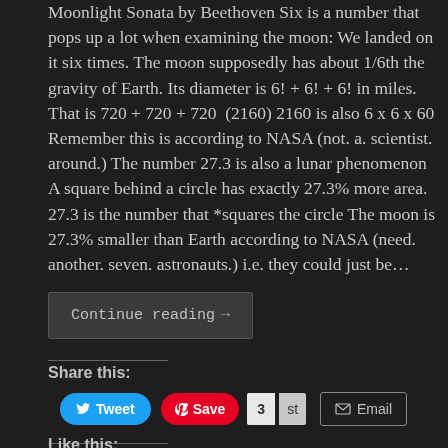Moonlight Sonata by Beethoven Six is a number that pops up a lot when examining the moon: We landed on it six times. The moon supposedly has about 1/6th the gravity of Earth. Its diameter is 6! + 6! + 6! in miles. That is 720 + 720 + 720  (2160) 2160 is also 6 x 6 x 60 Remember this is according to NASA (not. a. scientist. around.) The number 27.3 is also a lunar phenomenon A square behind a circle has exactly 27.3% more area. 27.3 is the number that *squares the circle The moon is 27.3% smaller than Earth according to NASA (need. another. seven. astronauts.) i.e. they could just be…
Continue reading →
Share this:
[Figure (screenshot): Social sharing buttons: Tweet (Twitter/blue), Save (Pinterest/red), count box showing 3, 'st' text, Email button]
Like this:
Loading...